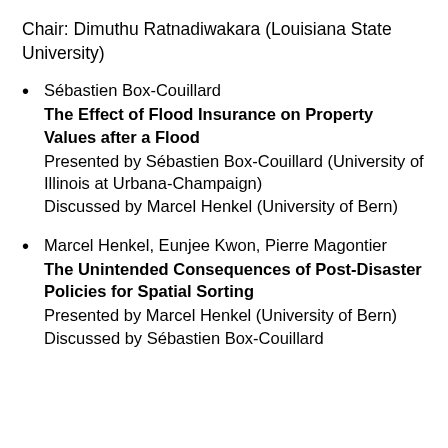Chair: Dimuthu Ratnadiwakara (Louisiana State University)
Sébastien Box-Couillard
The Effect of Flood Insurance on Property Values after a Flood
Presented by Sébastien Box-Couillard (University of Illinois at Urbana-Champaign)
Discussed by Marcel Henkel (University of Bern)
Marcel Henkel, Eunjee Kwon, Pierre Magontier
The Unintended Consequences of Post-Disaster Policies for Spatial Sorting
Presented by Marcel Henkel (University of Bern)
Discussed by Sébastien Box-Couillard